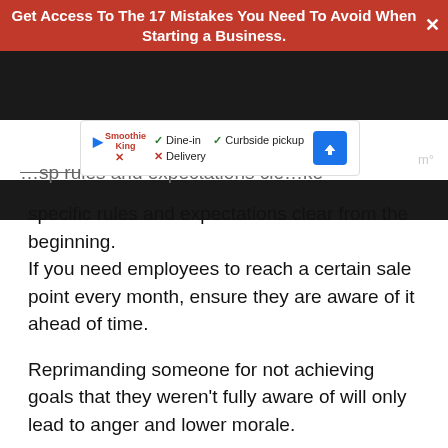Get Access To The 17 Mistakes You Need To Avoid When Starting a Business.
[Figure (screenshot): Ad card for Smoothie King showing Dine-in, Curbside pickup (checked), Delivery (crossed), with blue arrow direction icon]
specific rules and expectations clear from the beginning.
If you need employees to reach a certain sale point every month, ensure they are aware of it ahead of time.
Reprimanding someone for not achieving goals that they weren't fully aware of will only lead to anger and lower morale.
Additionally, a lack of clarity can lead to poor...